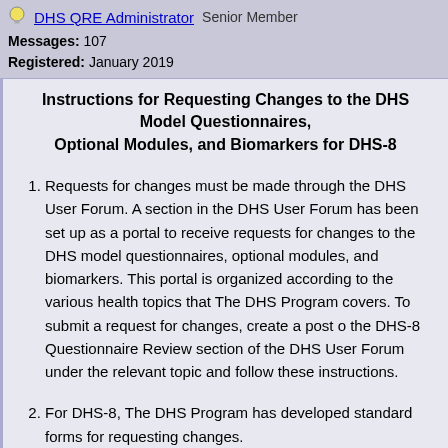DHS QRE Administrator   Senior Member
Messages: 107
Registered: January 2019
Instructions for Requesting Changes to the DHS Model Questionnaires, Optional Modules, and Biomarkers for DHS-8
Requests for changes must be made through the DHS User Forum. A section in the DHS User Forum has been set up as a portal to receive requests for changes to the DHS model questionnaires, optional modules, and biomarkers. This portal is organized according to the various health topics that The DHS Program covers. To submit a request for changes, create a post on the DHS-8 Questionnaire Review section of the DHS User Forum under the relevant topic and follow these instructions.
For DHS-8, The DHS Program has developed standard forms for requesting changes.
Requestors should make their suggestions by filling in one or more